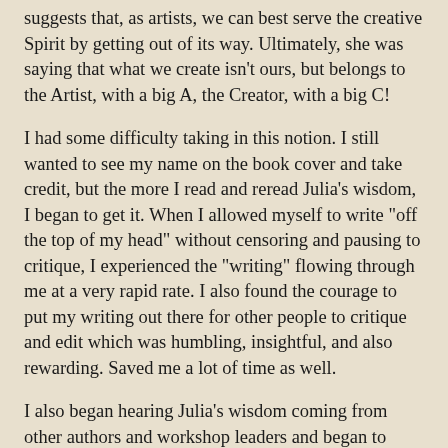suggests that, as artists, we can best serve the creative Spirit by getting out of its way. Ultimately, she was saying that what we create isn't ours, but belongs to the Artist, with a big A, the Creator, with a big C!
I had some difficulty taking in this notion. I still wanted to see my name on the book cover and take credit, but the more I read and reread Julia's wisdom, I began to get it. When I allowed myself to write "off the top of my head" without censoring and pausing to critique, I experienced the "writing" flowing through me at a very rapid rate. I also found the courage to put my writing out there for other people to critique and edit which was humbling, insightful, and also rewarding. Saved me a lot of time as well.
I also began hearing Julia's wisdom coming from other authors and workshop leaders and began to conclude that her wisdom was NEW until I realized that the same wisdom is in the twenty-five hundred years old Tao Te Ching and the Judeo Christian Scriptures. The wisdom is as old as time itself. Letting creation happen instead of trying to make it happen or force it to happen. The book of Genesis is a